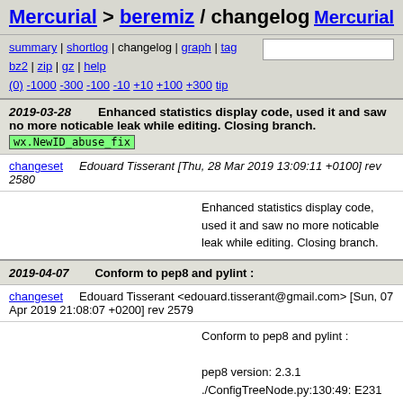Mercurial > beremiz / changelog   Mercurial
summary | shortlog | changelog | graph | tag [input] bz2 | zip | gz | help (0) -1000 -300 -100 -10 +10 +100 +300 tip
2019-03-28   Enhanced statistics display code, used it and saw no more noticable leak while editing. Closing branch. wx.NewID_abuse_fix
changeset   Edouard Tisserant [Thu, 28 Mar 2019 13:09:11 +0100] rev 2580
Enhanced statistics display code, used it and saw no more noticable leak while editing. Closing branch.
2019-04-07   Conform to pep8 and pylint :
changeset   Edouard Tisserant <edouard.tisserant@gmail.com> [Sun, 07 Apr 2019 21:08:07 +0200] rev 2579
Conform to pep8 and pylint :

pep8 version: 2.3.1
./ConfigTreeNode.py:130:49: E231 missing whitespace after ','
./editors/Viewer.py:643:24: E128 continuation line under-indented for visual indent